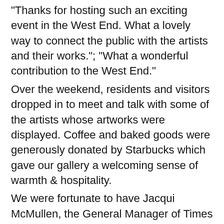“Thanks for hosting such an exciting event in the West End. What a lovely way to connect the public with the artists and their works.”; “What a wonderful contribution to the West End.”
Over the weekend, residents and visitors dropped in to meet and talk with some of the artists whose artworks were displayed.  Coffee and baked goods were generously donated by Starbucks which gave our gallery a welcoming sense of warmth & hospitality.
We were fortunate to have Jacqui McMullen, the General Manager of Times Square Suites Hotel offer us their empty retail space.  As Jacqui said, “There was no hesitation in my mind that a Pop Up Gallery would be a great use of our vacant space at Times Square…that artists in our neighbourhood will receive some focus on their work. There were sales made, conversations had and some new connections made…I can’t wait for the next Pop Up Gallery!”
Our opening night reception was a fabulous experience